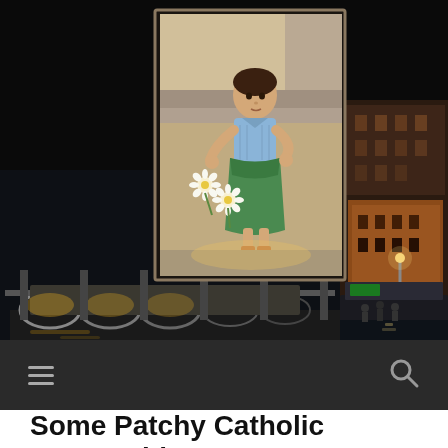[Figure (photo): Composite image: nighttime photo of the Rialto Bridge in Venice with canal and buildings on the right side, overlaid with a vintage photo of a young child in a blue and green outfit holding white daisy flowers, sitting on stone steps]
[Figure (screenshot): Dark navigation bar with hamburger menu icon on the left and search/magnifying glass icon on the right]
Some Patchy Catholic Censorship